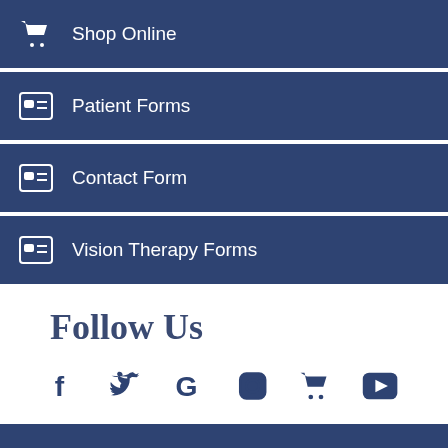Shop Online
Patient Forms
Contact Form
Vision Therapy Forms
Follow Us
[Figure (infographic): Social media icons: Facebook, Twitter, Google, Instagram, Shopping Cart, YouTube]
Home
Request Appointment
Privacy Policy